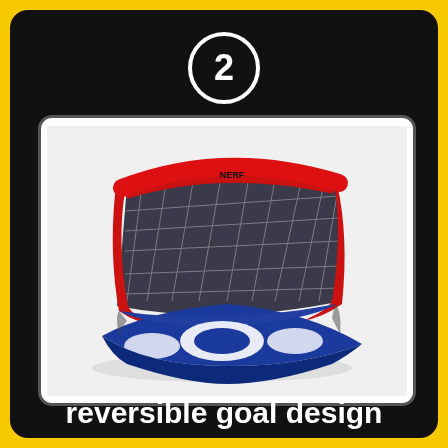2
[Figure (photo): A red, white, and blue collapsible pop-up soccer/hockey goal net with netting and a flat target board base, shown at an angle on a white background. The goal has a red frame, black netting, and a blue and white target mat.]
reversible goal design